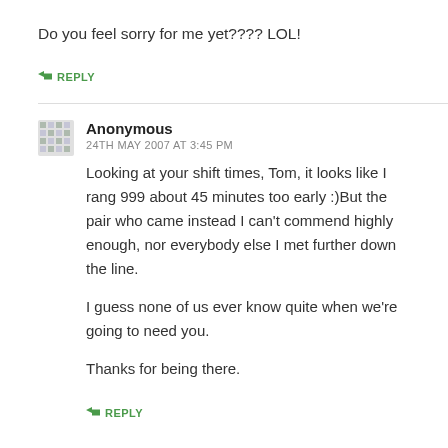Do you feel sorry for me yet???? LOL!
↳ REPLY
Anonymous
24TH MAY 2007 AT 3:45 PM
Looking at your shift times, Tom, it looks like I rang 999 about 45 minutes too early :)But the pair who came instead I can't commend highly enough, nor everybody else I met further down the line.

I guess none of us ever know quite when we're going to need you.

Thanks for being there.
↳ REPLY